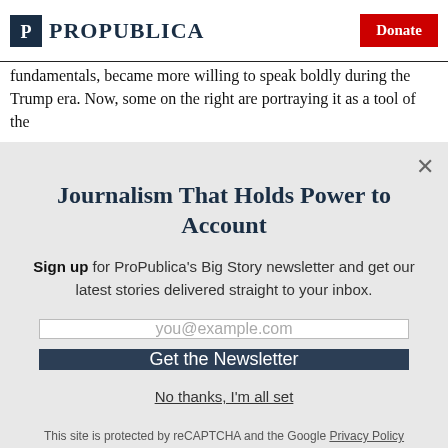ProPublica | Donate
fundamentals, became more willing to speak boldly during the Trump era. Now, some on the right are portraying it as a tool of the
Journalism That Holds Power to Account
Sign up for ProPublica's Big Story newsletter and get our latest stories delivered straight to your inbox.
you@example.com
Get the Newsletter
No thanks, I'm all set
This site is protected by reCAPTCHA and the Google Privacy Policy and Terms of Service apply.